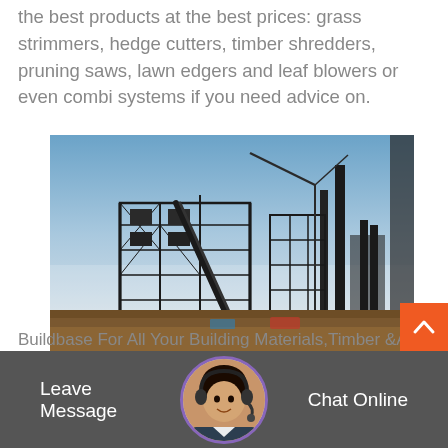the best products at the best prices: grass strimmers, hedge cutters, timber shredders, pruning saws, lawn edgers and leaf blowers or even combi systems if you need advice on.
[Figure (photo): Industrial construction site silhouette against a clear blue sky; large steel structural frameworks and cranes visible; dry brown field in foreground.]
Buildbase For All Your Building Materials,Timber &A
Leave Message
Chat Online
Hirebase for tool hire, hirebase a market leader with